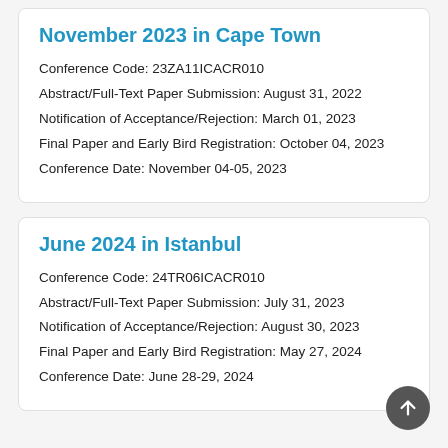November 2023 in Cape Town
Conference Code: 23ZA11ICACR010
Abstract/Full-Text Paper Submission: August 31, 2022
Notification of Acceptance/Rejection: March 01, 2023
Final Paper and Early Bird Registration: October 04, 2023
Conference Date: November 04-05, 2023
June 2024 in Istanbul
Conference Code: 24TR06ICACR010
Abstract/Full-Text Paper Submission: July 31, 2023
Notification of Acceptance/Rejection: August 30, 2023
Final Paper and Early Bird Registration: May 27, 2024
Conference Date: June 28-29, 2024